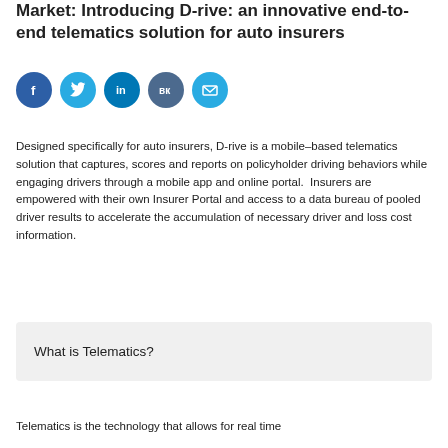Market: Introducing D-rive: an innovative end-to-end telematics solution for auto insurers
[Figure (other): Social media sharing icons: Facebook (blue), Twitter (light blue), LinkedIn (blue), VK (dark blue-grey), Email (light blue)]
Designed specifically for auto insurers, D-rive is a mobile-based telematics solution that captures, scores and reports on policyholder driving behaviors while engaging drivers through a mobile app and online portal.  Insurers are empowered with their own Insurer Portal and access to a data bureau of pooled driver results to accelerate the accumulation of necessary driver and loss cost information.
What is Telematics?
Telematics is the technology that allows for real time